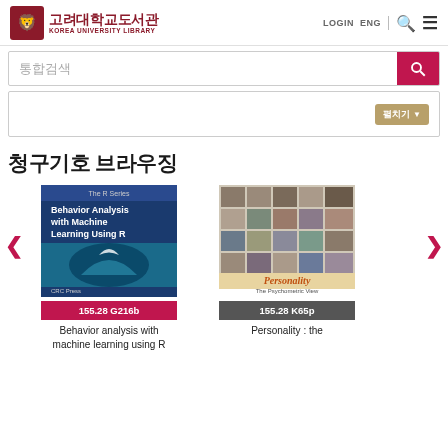[Figure (screenshot): Korea University Library logo with shield emblem and Korean/English text]
LOGIN  ENG
통합검색
펼치기 ▼
청구기호 브라우징
[Figure (illustration): Book cover: Behavior Analysis with Machine Learning Using R]
155.28 G216b
Behavior analysis with machine learning using R
[Figure (illustration): Book cover: Personality - The Psychometric View]
155.28 K65p
Personality : the